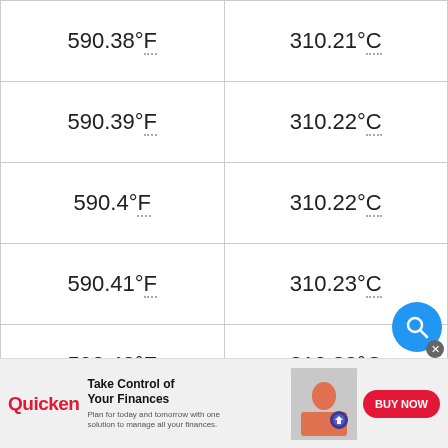| °F | °C |
| --- | --- |
| 590.38°F | 310.21°C |
| 590.39°F | 310.22°C |
| 590.4°F | 310.22°C |
| 590.41°F | 310.23°C |
| 590.42°F | 310.23°C |
| 590.43°F | 310.24°C |
| 590.44°F | 310.24°C |
| 590.45°F | 310.25°C |